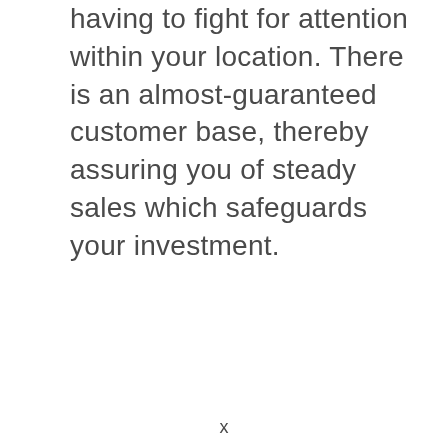having to fight for attention within your location. There is an almost-guaranteed customer base, thereby assuring you of steady sales which safeguards your investment.
x